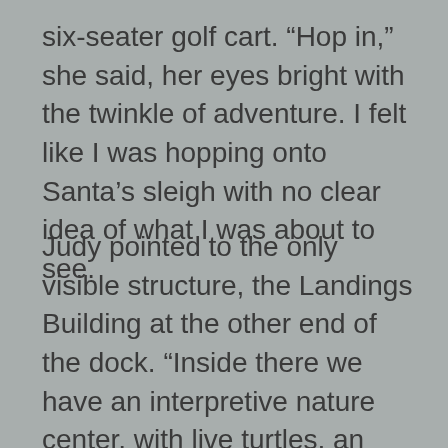six-seater golf cart. “Hop in,” she said, her eyes bright with the twinkle of adventure. I felt like I was hopping onto Santa’s sleigh with no clear idea of what I was about to see.
Judy pointed to the only visible structure, the Landings Building at the other end of the dock. “Inside there we have an interpretive nature center, with live turtles, an alligator skeleton, fun stuff like that. The kids love it. Down below is where residents get their mail and packages,” she said.